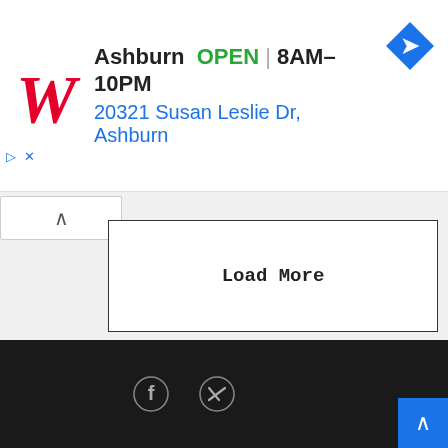[Figure (screenshot): Walgreens ad banner showing store in Ashburn, OPEN 8AM-10PM, address 20321 Susan Leslie Dr, Ashburn, with red Walgreens W logo and blue diamond direction icon]
Load More
[Figure (screenshot): Dark footer with Facebook and Twitter social icons, and a blue scroll-to-top button with chevron]